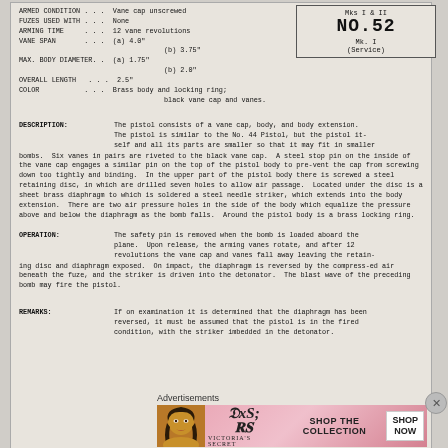ARMED CONDITION . . . Vane cap unscrewed
FUZES USED WITH . . . None
ARMING TIME . . . 12 vane revolutions
VANE SPAN . . . (a) 4.0"
(b) 3.75"
MAX. BODY DIAMETER. . (a) 1.75"
(b) 2.0"
OVERALL LENGTH . . . 2.5"
COLOR . . . Brass body and locking ring;
black vane cap and vanes.
Mks I & II
NO.52
Mk. I
(Service)
DESCRIPTION:
The pistol consists of a vane cap, body, and body extension. The pistol is similar to the No. 44 Pistol, but the pistol itself and all its parts are smaller so that it may fit in smaller bombs. Six vanes in pairs are riveted to the black vane cap. A steel stop pin on the inside of the vane cap engages a similar pin on the top of the pistol body to prevent the cap from screwing down too tightly and binding. In the upper part of the pistol body there is screwed a steel retaining disc, in which are drilled seven holes to allow air passage. Located under the disc is a sheet brass diaphragm to which is soldered a steel needle striker, which extends into the body extension. There are two air pressure holes in the side of the body which equalize the pressure above and below the diaphragm as the bomb falls. Around the pistol body is a brass locking ring.
OPERATION:
The safety pin is removed when the bomb is loaded aboard the plane. Upon release, the arming vanes rotate, and after 12 revolutions the vane cap and vanes fall away leaving the retaining disc and diaphragm exposed. On impact, the diaphragm is reversed by the compressed air beneath the fuze, and the striker is driven into the detonator. The blast wave of the preceding bomb may fire the pistol.
REMARKS:
If on examination it is determined that the diaphragm has been reversed, it must be assumed that the pistol is in the fired condition, with the striker imbedded in the detonator.
Advertisements
[Figure (illustration): Victoria's Secret advertisement banner with woman's face, VS logo, 'SHOP THE COLLECTION' text, and 'SHOP NOW' button]